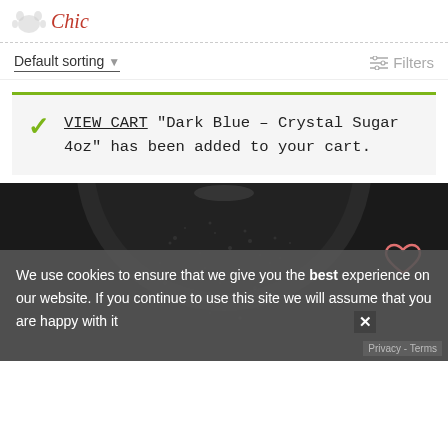Chic...
Default sorting ▼
≡ Filters
✓ VIEW CART "Dark Blue – Crystal Sugar 4oz" has been added to your cart.
[Figure (photo): Dark blue crystal sugar product shown in a circular frame on dark background, with a heart/wishlist icon in the upper right]
We use cookies to ensure that we give you the best experience on our website. If you continue to use this site we will assume that you are happy with it